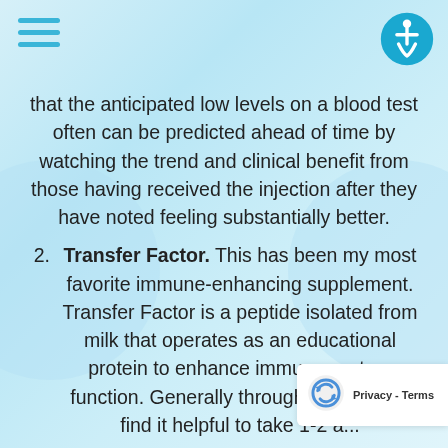that the anticipated low levels on a blood test often can be predicted ahead of time by watching the trend and clinical benefit from those having received the injection after they have noted feeling substantially better.
2. Transfer Factor. This has been my most favorite immune-enhancing supplement. Transfer Factor is a peptide isolated from milk that operates as an educational protein to enhance immune system function. Generally through the winter, I find it helpful to take 1-2 a...